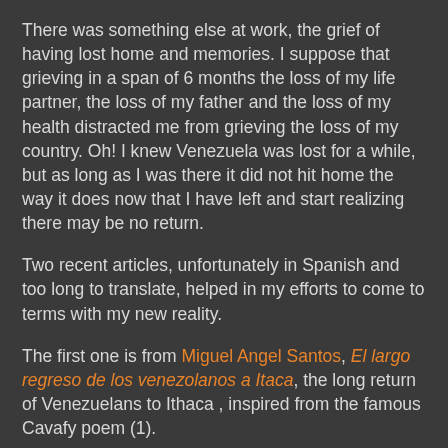There was something else at work, the grief of having lost home and memories. I suppose that grieving in a span of 6 months the loss of my life partner, the loss of my father and the loss of my health distracted me from grieving the loss of my country. Oh! I knew Venezuela was lost for a while, but as long as I was there it did not hit home the way it does now that I have left and start realizing there may be no return.
Two recent articles, unfortunately in Spanish and too long to translate, helped in my efforts to come to terms with my new reality.
The first one is from Miguel Angel Santos, El largo regreso de los venezolanos a Itaca, the long return of Venezuelans to Ithaca , inspired from the famous Cavafy poem (1).
In a way Santos does not say anything new, nothing that has not been said or suggested here and there. But he puts it together under the raw light of objective observation, of the raw comparison of the Venezuelan exile with other painful ones. We do not pass the test. As a nation of exiles we are failing the test, we are not accepting that we have left the country and may have chosen to live in a future of "next yea...